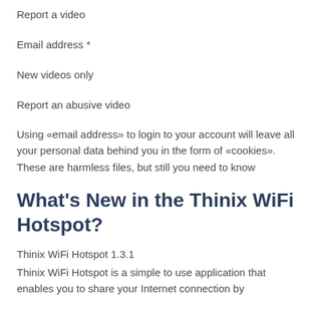Report a video
Email address *
New videos only
Report an abusive video
Using «email address» to login to your account will leave all your personal data behind you in the form of «cookies». These are harmless files, but still you need to know
What's New in the Thinix WiFi Hotspot?
Thinix WiFi Hotspot 1.3.1
Thinix WiFi Hotspot is a simple to use application that enables you to share your Internet connection by